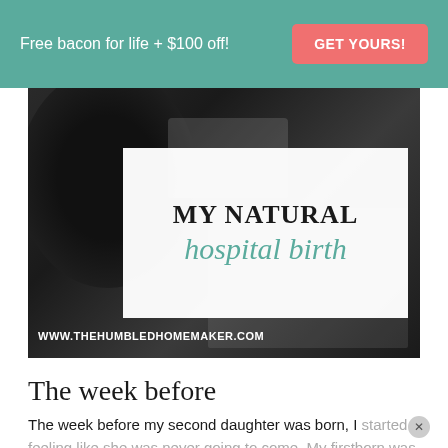Free bacon for life + $100 off!  GET YOURS!
[Figure (illustration): Blog post hero image with dark blurry background showing a dark object, overlaid with a white text box reading 'MY NATURAL hospital birth' and a website URL 'WWW.THEHUMBLEDHOMEMAKER.COM' at the bottom left.]
The week before
The week before my second daughter was born, I started feeling like she was never going to come. My firstborn was born 8 days early, so I was expecting #2